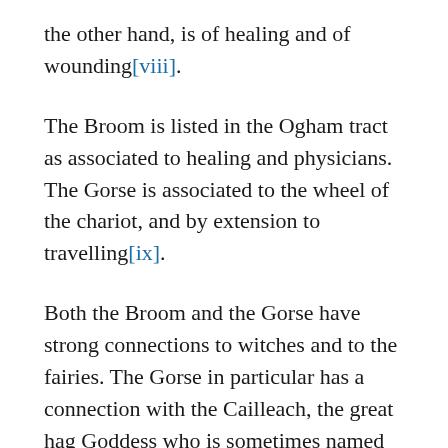the other hand, is of healing and of wounding[viii].
The Broom is listed in the Ogham tract as associated to healing and physicians. The Gorse is associated to the wheel of the chariot, and by extension to travelling[ix].
Both the Broom and the Gorse have strong connections to witches and to the fairies. The Gorse in particular has a connection with the Cailleach, the great hag Goddess who is sometimes named the Queen of the Fairies.
Ohn is the few of journeys and of the preparation for the mission at hand. The Gorse